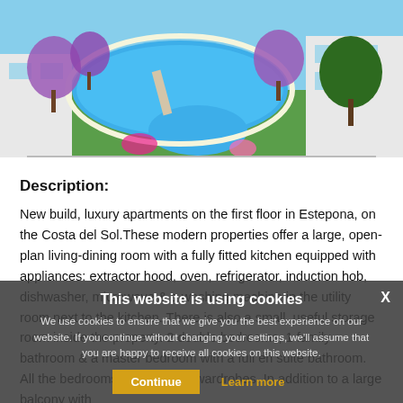[Figure (photo): Aerial view of luxury apartment complex with large swimming pool area, purple flowering trees, and manicured gardens on Costa del Sol.]
Description:
New build, luxury apartments on the first floor in Estepona, on the Costa del Sol.These modern properties offer a large, open-plan living-dining room with a fully fitted kitchen equipped with appliances: extractor hood, oven, refrigerator, induction hob, dishwasher, microwave & a washing machine in the utility room next to the kitchen. There is also a small, useful storage room inside the property. 2 double bedrooms, 1 family bathroom & a master bedroom with a full en suite bathroom. All the bedrooms have built-in wardrobes. In addition to a large balcony with magnificent views of the countryside. The apartments are built with excellent quality materials and the development offers features including pre-installation for air conditioning, underfloor heating throughout, equipped with aerothermal energy, also with the control thermostat placed in the living/dining room. Let's complete our description by mentioning it has a
This website is using cookies
We use cookies to ensure that we give you the best experience on our website. If you continue without changing your settings, we'll assume that you are happy to receive all cookies on this website.
Continue   Learn more